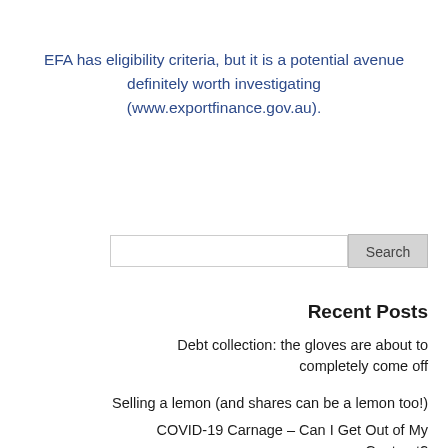EFA has eligibility criteria, but it is a potential avenue definitely worth investigating (www.exportfinance.gov.au).
[Figure (other): Search input box with Search button]
Recent Posts
Debt collection: the gloves are about to completely come off
Selling a lemon (and shares can be a lemon too!)
COVID-19 Carnage – Can I Get Out of My Contract?
Works of Artistic Craftsmanship